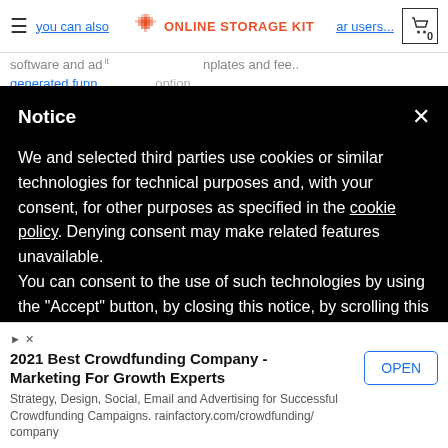[Figure (screenshot): Online Storage Kit website navigation bar with logo, hamburger menu, partially visible text links, and shopping cart icon showing 0 items]
software and ad ... nplates and fee...
you can also ... ar users...
generated funn...
The following options available...
Notice
We and selected third parties use cookies or similar technologies for technical purposes and, with your consent, for other purposes as specified in the cookie policy. Denying consent may make related features unavailable.
You can consent to the use of such technologies by using the "Accept" button, by closing this notice, by scrolling this page, by interacting with any link or button outside of this notice or by continuing to browse otherwise.
[Figure (screenshot): Cookie consent modal with Decline (chevron down) and Accept buttons]
[Figure (screenshot): Advertisement banner: 2021 Best Crowdfunding Company - Marketing For Growth Experts. Strategy, Design, Social, Email and Advertising for Successful Crowdfunding Campaigns. rainfactory.com/crowdfunding/company. OPEN button on right.]